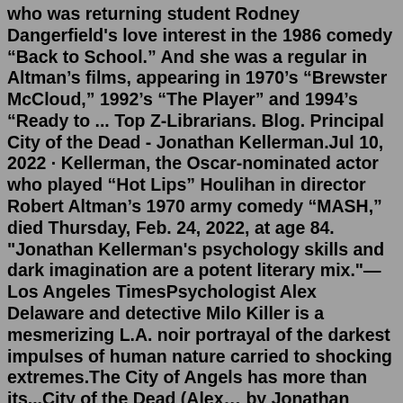who was returning student Rodney Dangerfield's love interest in the 1986 comedy "Back to School." And she was a regular in Altman's films, appearing in 1970's "Brewster McCloud," 1992's "The Player" and 1994's "Ready to ... Top Z-Librarians. Blog. Principal City of the Dead - Jonathan Kellerman.Jul 10, 2022 · Kellerman, the Oscar-nominated actor who played "Hot Lips" Houlihan in director Robert Altman's 1970 army comedy "MASH," died Thursday, Feb. 24, 2022, at age 84. "Jonathan Kellerman's psychology skills and dark imagination are a potent literary mix."—Los Angeles TimesPsychologist Alex Delaware and detective Milo Killer is a mesmerizing L.A. noir portrayal of the darkest impulses of human nature carried to shocking extremes.The City of Angels has more than its...City of the Dead (Alex… by Jonathan Kellerman #37 in Series. Hardcover $20.99 $28.99 Current price is $20.99, Original price is $28.99. Available Online. Add to ... Sara saw Sophia Lugo on the TV from General Jonathan Krantz. Sara along with T-Bag and Kellerman tried to kill a main